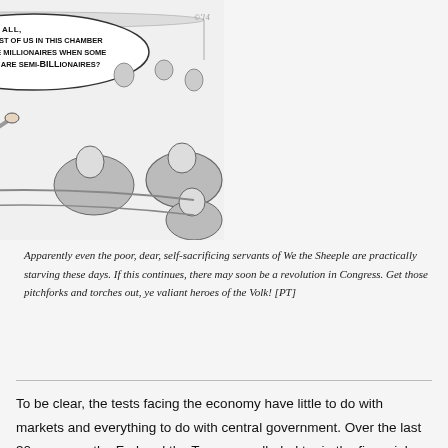[Figure (illustration): Political cartoon showing a legislator in a striped suit speaking in a chamber with a speech bubble reading: 'IS IT REALLY FAIR, AFTER ALL, THAT MOST OF US IN THIS CHAMBER ARE MERE MILLIONAIRES WHEN SOME OTHERS ARE SEMI-BILLIONAIRES?' Other seated figures listen in the background and foreground.]
Apparently even the poor, dear, self-sacrificing servants of We the Sheeple are practically starving these days. If this continues, there may soon be a revolution in Congress. Get those pitchforks and torches out, ye valiant heroes of the Volk! [PT]
To be clear, the tests facing the economy have little to do with markets and everything to do with central government. Over the last 30 years, as the Fed and the Treasury colluded to rig the financial system in earnest,